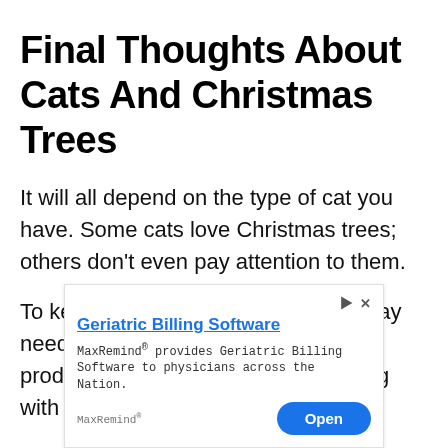Final Thoughts About Cats And Christmas Trees
It will all depend on the type of cat you have. Some cats love Christmas trees; others don't even pay attention to them.
To keep your cat away from it, you may need to use some essential oils or products to prevent them from playing with the ornaments. Don't stress
[Figure (other): Advertisement banner for MaxRemind Geriatric Billing Software with an 'Open' button]